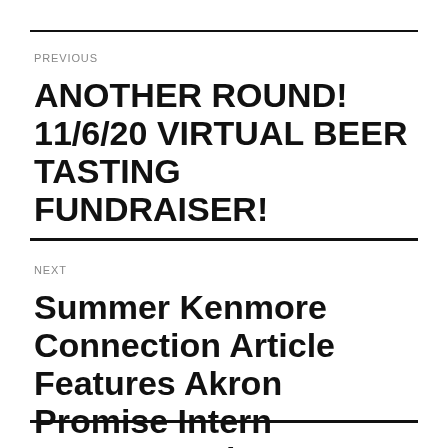PREVIOUS
ANOTHER ROUND! 11/6/20 VIRTUAL BEER TASTING FUNDRAISER!
NEXT
Summer Kenmore Connection Article Features Akron Promise Intern Margaret Tulay